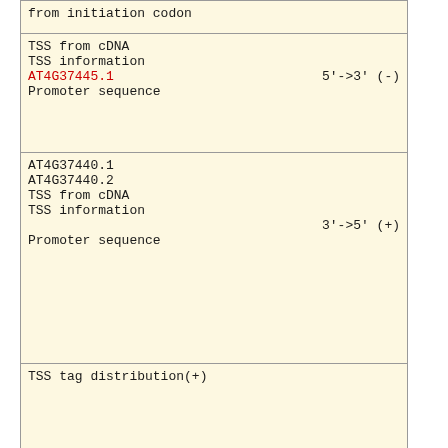from initiation codon
TSS from cDNA
TSS information
AT4G37445.1   5'->3' (-)
Promoter sequence
AT4G37440.1
AT4G37440.2
TSS from cDNA
TSS information
3'->5' (+)
Promoter sequence
TSS tag distribution(+)
TSS tag distribution(-)